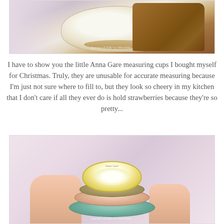[Figure (photo): Top portion of a food/kitchen photo showing a decorative ceramic bowl with floral accents and what appears to be a piece of baked bread or cake beside it, on a patterned surface]
I have to show you the little Anna Gare measuring cups I bought myself for Christmas. Truly, they are unusable for accurate measuring because I'm just not sure where to fill to, but they look so cheery in my kitchen that I don't care if all they ever do is hold strawberries because they're so pretty...
[Figure (photo): Stacked decorative measuring cups/bowls in a flower petal shape — top bowl is yellow and white, middle is pink/peach toned, bottom plate is teal/green — held in someone's hands against a pink patterned tablecloth background]